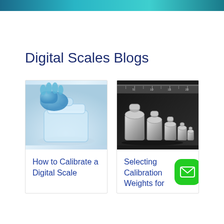Digital Scales Blogs
[Figure (photo): Close-up of a gloved hand handling a clear glass container on a digital scale, with blue laboratory glove visible]
How to Calibrate a Digital Scale
[Figure (photo): Set of chrome/silver calibration weights of varying sizes lined up in front of a ruler on a dark background]
Selecting Calibration Weights for